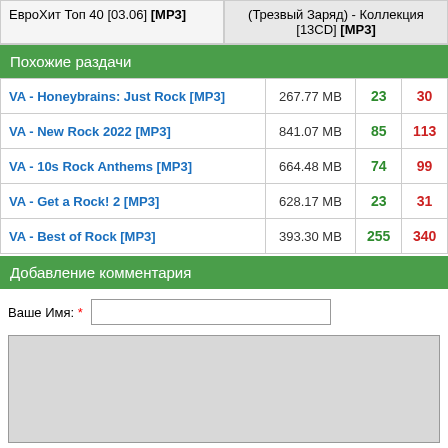ЕвроХит Топ 40 [03.06] [MP3]
(Трезвый Заряд) - Коллекция [13CD] [MP3]
Похожие раздачи
|  | Size | Seeds | Peers |
| --- | --- | --- | --- |
| VA - Honeybrains: Just Rock [MP3] | 267.77 MB | 23 | 30 |
| VA - New Rock 2022 [MP3] | 841.07 MB | 85 | 113 |
| VA - 10s Rock Anthems [MP3] | 664.48 MB | 74 | 99 |
| VA - Get a Rock! 2 [MP3] | 628.17 MB | 23 | 31 |
| VA - Best of Rock [MP3] | 393.30 MB | 255 | 340 |
Добавление комментария
Ваше Имя: *